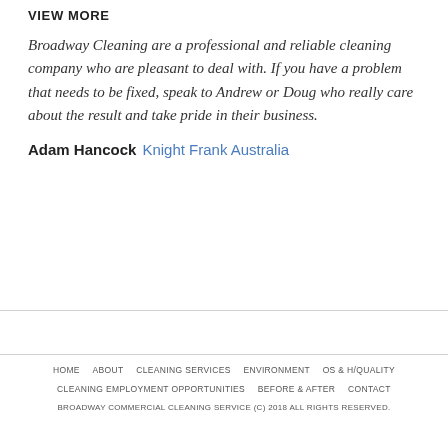VIEW MORE
Broadway Cleaning are a professional and reliable cleaning company who are pleasant to deal with. If you have a problem that needs to be fixed, speak to Andrew or Doug who really care about the result and take pride in their business.
Adam Hancock  Knight Frank Australia
HOME  ABOUT  CLEANING SERVICES  ENVIRONMENT  OS & H/QUALITY  CLEANING EMPLOYMENT OPPORTUNITIES  BEFORE & AFTER  CONTACT  BROADWAY COMMERCIAL CLEANING SERVICE (C) 2018 ALL RIGHTS RESERVED.